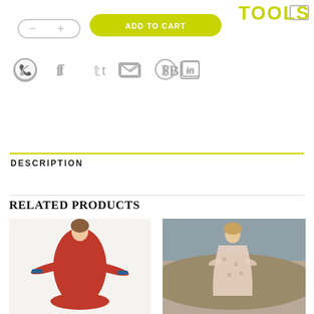[Figure (screenshot): Top navigation bar area showing quantity control buttons (minus/plus), an olive/yellow-green 'ADD TO CART' button, and 'TOOLS' text in lime green with a cart icon]
[Figure (infographic): Row of social sharing icons: WhatsApp, Facebook, Twitter, Email, Pinterest, LinkedIn — all in gray]
DESCRIPTION
RELATED PRODUCTS
[Figure (photo): Woman wearing a red dress with blue trim, arms outstretched, against a white background]
[Figure (photo): Woman in a floral wrap dress standing in a sunny outdoor landscape]